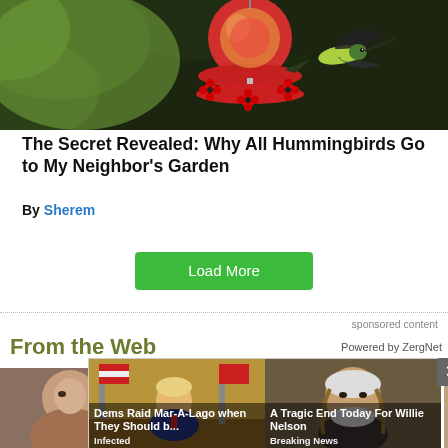[Figure (photo): A hummingbird hovering near a red hummingbird feeder with flower-shaped ports, against a blurred green and dark background]
The Secret Revealed: Why All Hummingbirds Go to My Neighbor's Garden
By Sherem
Load More
sponsored content
From the Web
Powered by ZergNet
[Figure (screenshot): Overlay popup with two news cards: 'Dems Raid Mar-A-Lago when They Should b...' (source: Infected) and 'A Tragic End Today For Willie Nelson' (source: Breaking News), with an X close button]
[Figure (photo): Partial view of a person's face on the left edge]
[Figure (photo): Partial view of a person's hair/face on the right edge]